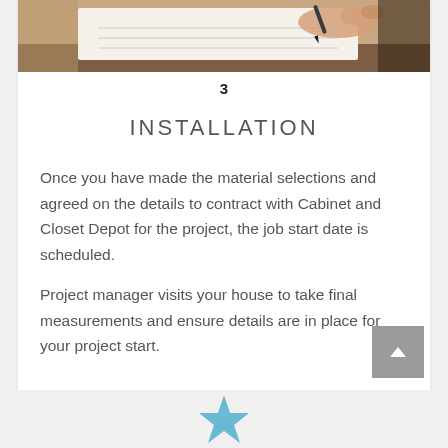[Figure (photo): Close-up photo of hands writing or signing on paper with a pen, viewed from above.]
3
INSTALLATION
Once you have made the material selections and agreed on the details to contract with Cabinet and Closet Depot for the project, the job start date is scheduled.
Project manager visits your house to take final measurements and ensure details are in place for your project start.
[Figure (illustration): Blue star shape icon at the bottom of the page.]